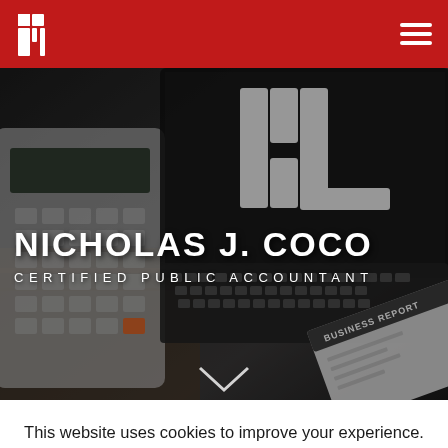[Figure (screenshot): Red navigation bar with white stylized NJC logo on left and hamburger menu icon on right]
[Figure (photo): Hero image of a laptop keyboard and calculator on a desk in dark tones, overlaid with large white NJC logo watermark, business report visible in lower right]
NICHOLAS J. COCO
CERTIFIED PUBLIC ACCOUNTANT
This website uses cookies to improve your experience. We'll assume you're ok with this, but you can opt-out if you wish.
Cookie settings
ACCEPT